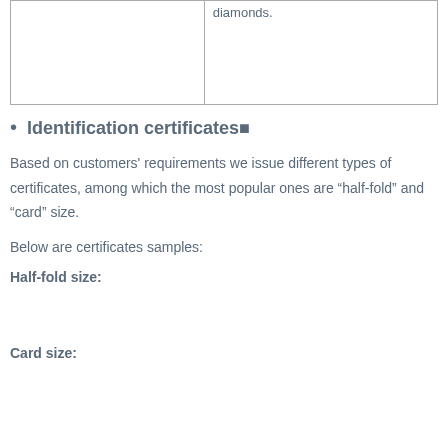|  | diamonds. |
Identification certificates■
Based on customers’ requirements we issue different types of certificates, among which the most popular ones are “half-fold” and “card” size.
Below are certificates samples:
Half-fold size:
Card size: